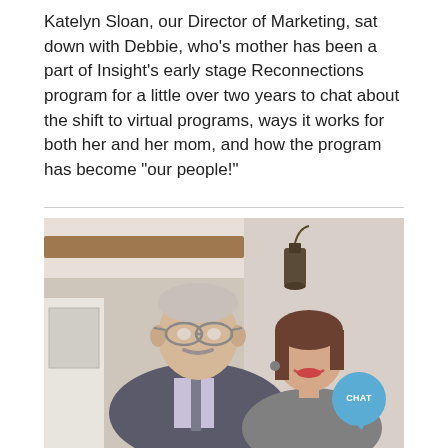Katelyn Sloan, our Director of Marketing, sat down with Debbie, who's mother has been a part of Insight's early stage Reconnections program for a little over two years to chat about the shift to virtual programs, ways it works for both her and her mom, and how the program has become "our people!"
[Figure (photo): A photograph of an older man with glasses and a gray mustache wearing a suit and tie, and a younger woman with brown hair smiling, posing together indoors with a lantern and wooden beam visible in the background. A CHAT button bubble is visible in the bottom right corner of the image.]